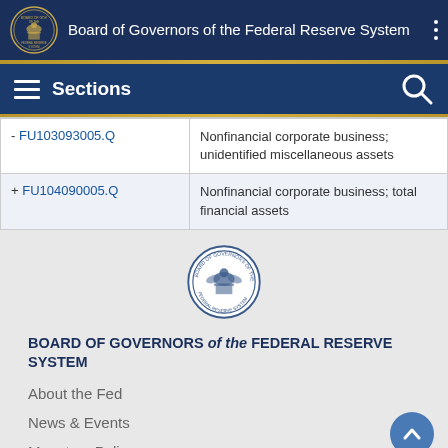Board of Governors of the Federal Reserve System
| Code | Description |
| --- | --- |
| - FU103093005.Q | Nonfinancial corporate business; unidentified miscellaneous assets |
| + FU104090005.Q | Nonfinancial corporate business; total financial assets |
[Figure (logo): Federal Reserve System seal/logo]
BOARD OF GOVERNORS of the FEDERAL RESERVE SYSTEM
About the Fed
News & Events
Monetary Policy